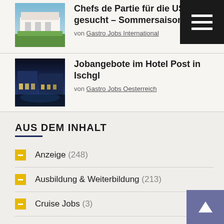[Figure (photo): Hotel building with green lawn and blue sky]
Chefs de Partie für die USA gesucht – Sommersaison 2020
von Gastro Jobs International
[Figure (photo): Alpine village hotel at night with illuminated buildings]
Jobangebote im Hotel Post in Ischgl
von Gastro Jobs Oesterreich
AUS DEM INHALT
Anzeige (248)
Ausbildung & Weiterbildung (213)
Cruise Jobs (3)
Essay writing for dummies download (118)